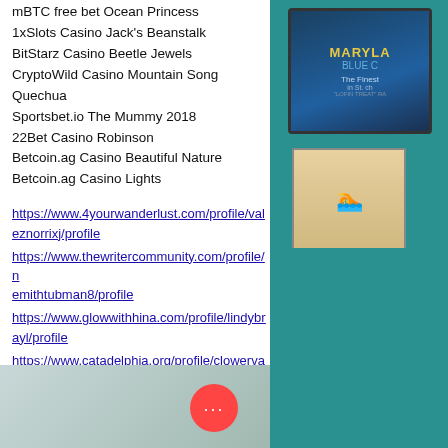mBTC free bet Ocean Princess
1xSlots Casino Jack's Beanstalk
BitStarz Casino Beetle Jewels
CryptoWild Casino Mountain Song Quechua
Sportsbet.io The Mummy 2018
22Bet Casino Robinson
Betcoin.ag Casino Beautiful Nature
Betcoin.ag Casino Lights
https://www.4yourwanderlust.com/profile/valeznorrixj/profile
https://www.thewritercommunity.com/profile/nemithtubman8/profile
https://www.glowwithhina.com/profile/lindybrayl/profile
https://www.catadelphia.org/profile/clowervaugh5/profile
[Figure (photo): Bottom portion of a teal/turquoise wall with decorative elements, partially visible photo area with a red circle button overlay containing three dots]